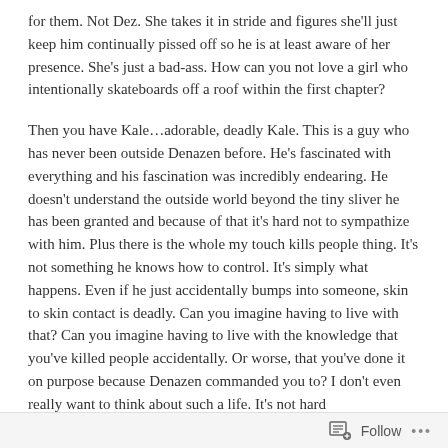for them. Not Dez. She takes it in stride and figures she'll just keep him continually pissed off so he is at least aware of her presence. She's just a bad-ass. How can you not love a girl who intentionally skateboards off a roof within the first chapter?
Then you have Kale…adorable, deadly Kale. This is a guy who has never been outside Denazen before. He's fascinated with everything and his fascination was incredibly endearing. He doesn't understand the outside world beyond the tiny sliver he has been granted and because of that it's hard not to sympathize with him. Plus there is the whole my touch kills people thing. It's not something he knows how to control. It's simply what happens. Even if he just accidentally bumps into someone, skin to skin contact is deadly. Can you imagine having to live with that? Can you imagine having to live with the knowledge that you've killed people accidentally. Or worse, that you've done it on purpose because Denazen commanded you to? I don't even really want to think about such a life. It's not hard
Follow ···